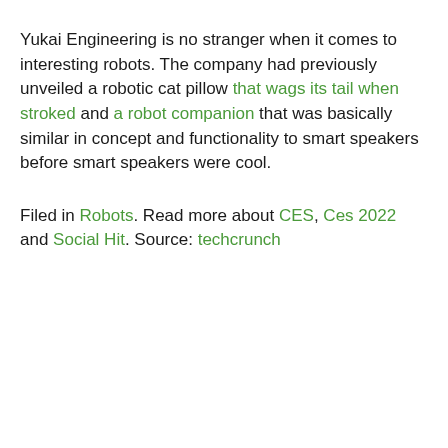Yukai Engineering is no stranger when it comes to interesting robots. The company had previously unveiled a robotic cat pillow that wags its tail when stroked and a robot companion that was basically similar in concept and functionality to smart speakers before smart speakers were cool.
Filed in Robots. Read more about CES, Ces 2022 and Social Hit. Source: techcrunch